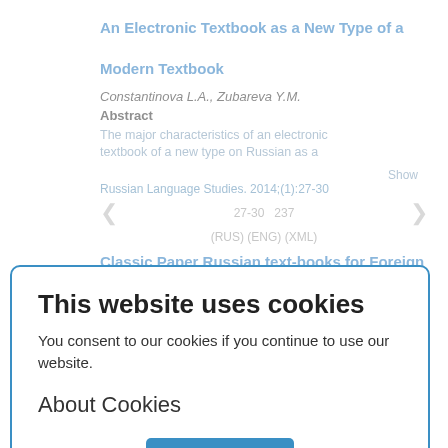An Electronic Textbook as a New Type of a Modern Textbook
Constantinova L.A., Zubareva Y.M.
Abstract
The major characteristics of an electronic textbook of a new type on Russian as a
Show
Russian Language Studies. 2014;(1):27-30
27-30    237
(RUS) (ENG) (XML)
[Figure (screenshot): Cookie consent popup overlay with title 'This website uses cookies', body text 'You consent to our cookies if you continue to use our website.', 'About Cookies' section, and an OK button.]
Classic Paper Russian text-books for Foreign Students — electronic text-books — smart text-books
Khromov S.S.